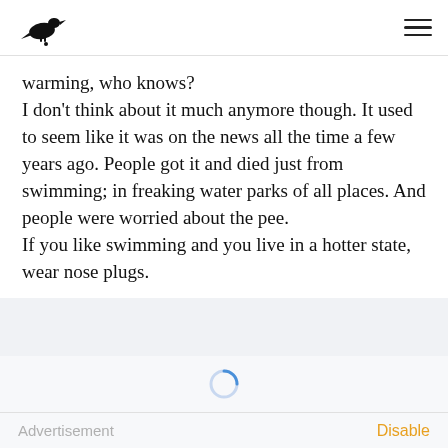Crow logo and hamburger menu
warming, who knows?
I don't think about it much anymore though. It used to seem like it was on the news all the time a few years ago. People got it and died just from swimming; in freaking water parks of all places. And people were worried about the pee.
If you like swimming and you live in a hotter state, wear nose plugs.
1  0  2
[Figure (screenshot): Loading spinner (circular arc in blue)]
Advertisement    Disable